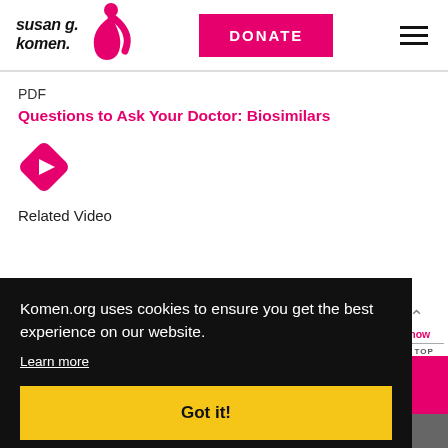[Figure (logo): Susan G. Komen logo with pink ribbon and text]
DONATE
PDF
Questions to Ask Your Doctor: Biosimilars
[Figure (illustration): Pink diamond-shaped play button icon]
Related Video
Komen.org uses cookies to ensure you get the best experience on our website. Learn more Got it!